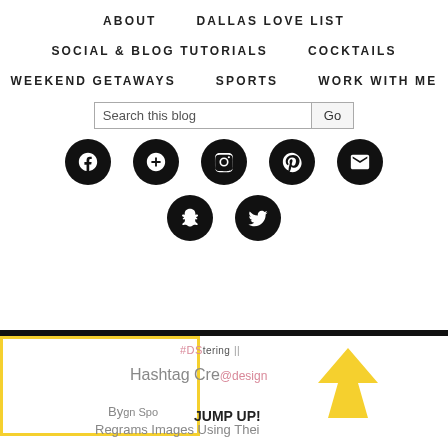ABOUT   DALLAS LOVE LIST   SOCIAL & BLOG TUTORIALS   COCKTAILS   WEEKEND GETAWAYS   SPORTS   WORK WITH ME
[Figure (screenshot): Blog navigation menu with social media icons (Facebook, Google+, Instagram, Pinterest, Email, Snapchat, Twitter) and a search bar. Bottom portion shows a yellow-bordered infographic preview with hashtag creation content and a yellow upward arrow labeled JUMP UP!]